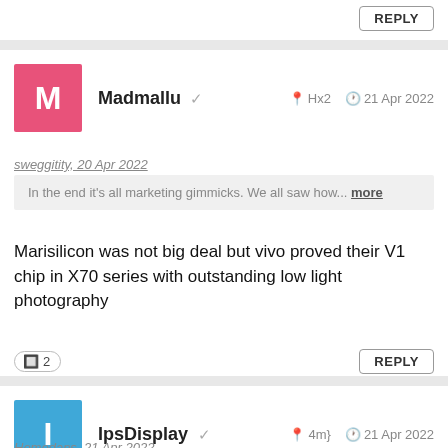REPLY
Madmallu ✓  Hx2  21 Apr 2022
sweggitity, 20 Apr 2022
In the end it's all marketing gimmicks. We all saw how... more
Marisilicon was not big deal but vivo proved their V1 chip in X70 series with outstanding low light photography
REPLY
2
IpsDisplay ✓  4m}  21 Apr 2022
Hemedans, 21 Apr 2022
You can also interpret it as Mediatek has Bad isp Oems has.... more